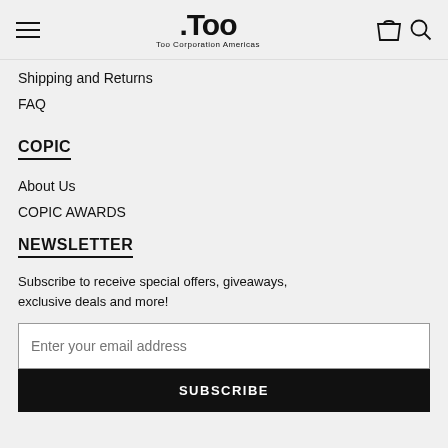.Too – Too Corporation Americas
Shipping and Returns
FAQ
COPIC
About Us
COPIC AWARDS
NEWSLETTER
Subscribe to receive special offers, giveaways, exclusive deals and more!
Enter your email address
SUBSCRIBE